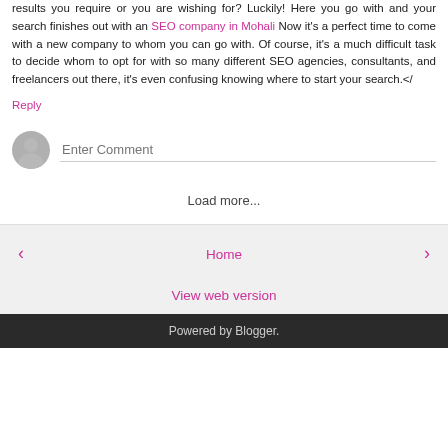results you require or you are wishing for? Luckily! Here you go with and your search finishes out with an SEO company in Mohali Now it's a perfect time to come with a new company to whom you can go with. Of course, it's a much difficult task to decide whom to opt for with so many different SEO agencies, consultants, and freelancers out there, it's even confusing knowing where to start your search.</
Reply
Enter Comment
Load more...
‹
Home
›
View web version
Powered by Blogger.